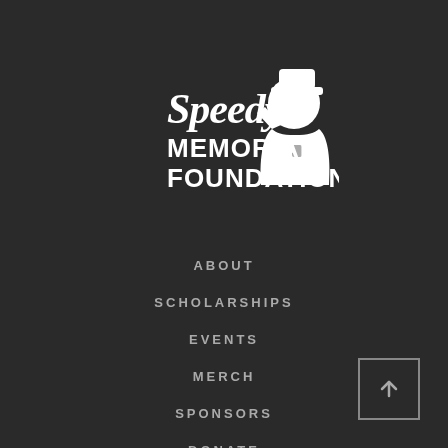[Figure (logo): Speedy Memorial Foundation logo with white script 'Speedy' text, bold 'MEMORIAL FOUNDATION' text, and white silhouette of a police officer saluting]
ABOUT
SCHOLARSHIPS
EVENTS
MERCH
SPONSORS
DONATE
[Figure (other): Scroll-to-top button: a square with an upward arrow icon in the bottom-right corner]